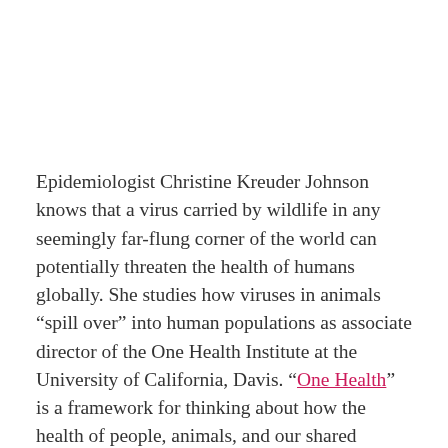Epidemiologist Christine Kreuder Johnson knows that a virus carried by wildlife in any seemingly far-flung corner of the world can potentially threaten the health of humans globally. She studies how viruses in animals “spill over” into human populations as associate director of the One Health Institute at the University of California, Davis. “One Health” is a framework for thinking about how the health of people, animals, and our shared environment are all connected.
Johnson is the lead author of a new study that found that domesticated animals, along with wildlife